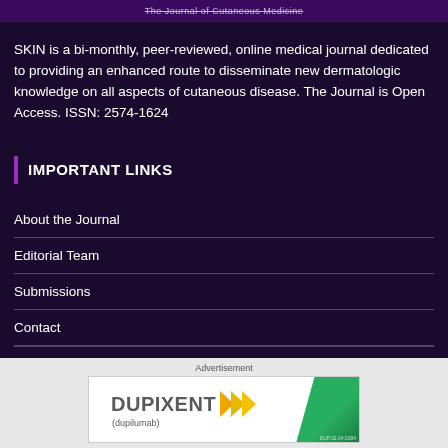The Journal of Cutaneous Medicine
SKIN is a bi-monthly, peer-reviewed, online medical journal dedicated to providing an enhanced route to disseminate new dermatologic knowledge on all aspects of cutaneous disease. The Journal is Open Access. ISSN: 2574-1624
IMPORTANT LINKS
About the Journal
Editorial Team
Submissions
Contact
[Figure (advertisement): Dupixent (dupilumab) advertisement with logo featuring yellow arrows and green triangle on right side]
Advertisement